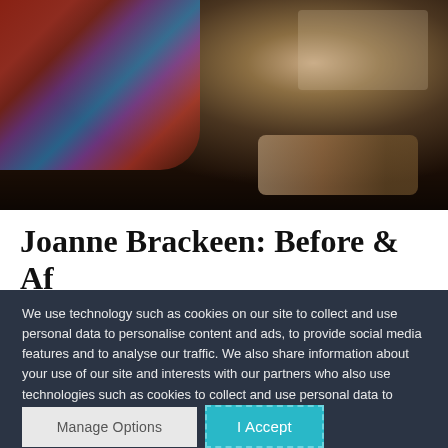[Figure (photo): Partial photo of a person playing piano, showing colorful clothing and hands on piano keys against a dark background.]
Joanne Brackeen: Before & Af...
We use technology such as cookies on our site to collect and use personal data to personalise content and ads, to provide social media features and to analyse our traffic. We also share information about your use of our site and interests with our partners who also use technologies such as cookies to collect and use personal data to personalise content and ads, to provide social media features and to analyse our traffic on our site and across the internet. You can always change your mind and revisit your choices.
Manage Options | I Accept